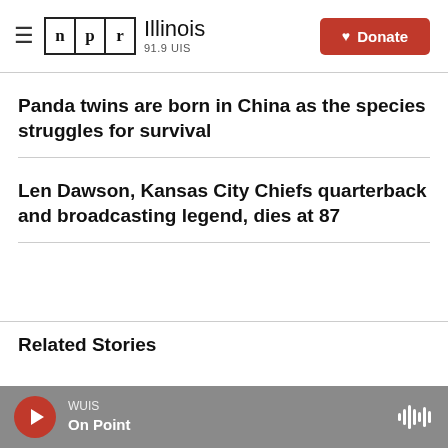NPR Illinois 91.9 UIS | Donate
Panda twins are born in China as the species struggles for survival
Len Dawson, Kansas City Chiefs quarterback and broadcasting legend, dies at 87
Related Stories
WUIS | On Point